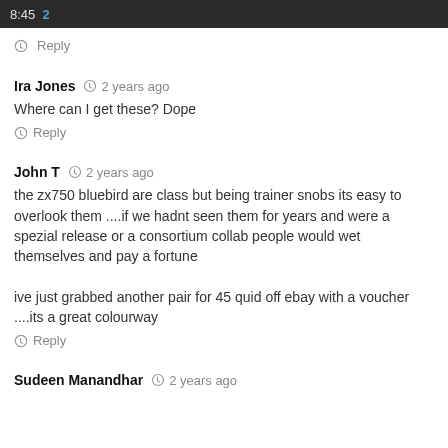8:45 2
Reply
Ira Jones  2 years ago
Where can I get these? Dope
Reply
John T  2 years ago
the zx750 bluebird are class but being trainer snobs its easy to overlook them ....if we hadnt seen them for years and were a spezial release or a consortium collab people would wet themselves and pay a fortune

ive just grabbed another pair for 45 quid off ebay with a voucher ....its a great colourway
Reply
Sudeen Manandhar  2 years ago